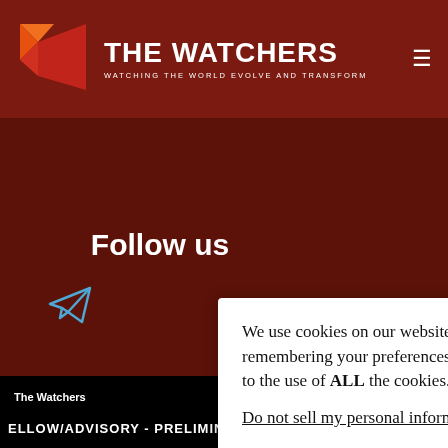THE WATCHERS — WATCHING THE WORLD EVOLVE AND TRANSFORM
Follow us
[Figure (logo): Telegram paper plane icon in blue outline]
We use cookies on our website to give you the most relevant experience by remembering your preferences and repeat visits. By clicking “Accept”, you consent to the use of ALL the cookies.
Do not sell my personal information.
The Watchers
Except where otherwise noted
ELLOW/ADVISORY - PRELIMINARY EARTHQUAKE LOCATIONS M